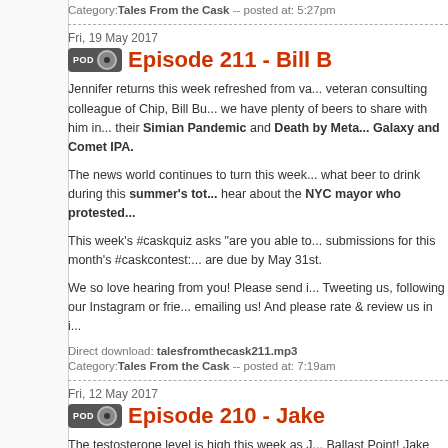Category: Tales From the Cask -- posted at: 5:27pm
Fri, 19 May 2017
Episode 211 - Bill B...
Jennifer returns this week refreshed from va... veteran consulting colleague of Chip, Bill Bu... we have plenty of beers to share with him in... their Simian Pandemic and Death by Meta... Galaxy and Comet IPA.
The news world continues to turn this week... what beer to drink during this summer's tot... hear about the NYC mayor who protested...
This week's #caskquiz asks "are you able to... submissions for this month's #caskcontest:... are due by May 31st.
We so love hearing from you! Please send i... Tweeting us, following our Instagram or frie... emailing us! And please rate & review us in i...
Direct download: talesfromthecask211.mp3
Category: Tales From the Cask -- posted at: 7:19am
Fri, 12 May 2017
Episode 210 - Jake...
The testosterone level is high this week as J... Ballast Point! Jake tells us how he got into th... excellent beers with us: Sea Rose and Unfilt...
You want some more MegaMergerMania? W... bought the half of Lagunitas it didn't control...